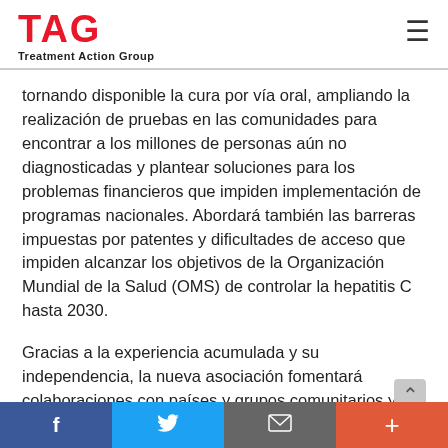[Figure (logo): TAG Treatment Action Group logo with red TAG text and hamburger menu icon]
tornando disponible la cura por vía oral, ampliando la realización de pruebas en las comunidades para encontrar a los millones de personas aún no diagnosticadas y plantear soluciones para los problemas financieros que impiden implementación de programas nacionales. Abordará también las barreras impuestas por patentes y dificultades de acceso que impiden alcanzar los objetivos de la Organización Mundial de la Salud (OMS) de controlar la hepatitis C hasta 2030.
Gracias a la experiencia acumulada y su independencia, la nueva asociación fomentará colaboraciones con países y grupos comunitarios y de la sociedad civil, y recolectar evidencias para respaldar programas ambiciosos de diagnóstico y tratamiento, abordando a la vez los
f  Twitter  Email  +